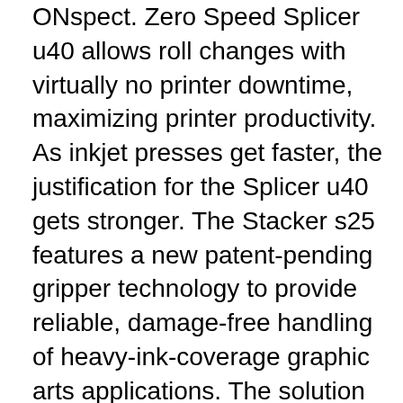ONspect. Zero Speed Splicer u40 allows roll changes with virtually no printer downtime, maximizing printer productivity. As inkjet presses get faster, the justification for the Splicer u40 gets stronger. The Stacker s25 features a new patent-pending gripper technology to provide reliable, damage-free handling of heavy-ink-coverage graphic arts applications. The solution responds to the growing demand for high-quality digitally printed applications on a broad variety of media types and paper weights. WebVision ONspect—installed on Tecnau's Rewinder r9—guarantees print quality, job integrity, and job completeness on a space-efficient and cost-effective hardware platform.
Therm-O-Type, booth 3631, showcases its RDC-FLEX rotary die cutter. Designed for kiss- and die-cut product finishing, the solution features a 14.33×20.5-inch maximum sheet size, mark or edge registration, high-capacity feeder, delivery conveyor, inline waste stripping, die registration